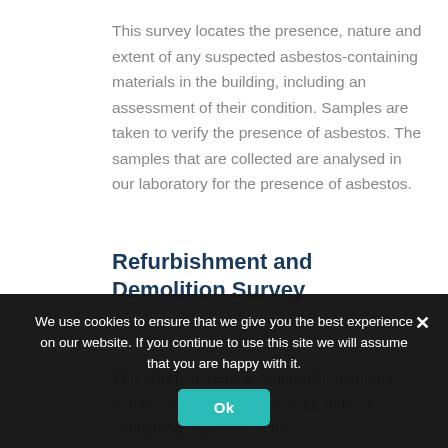This survey locates the presence, nature and extent of any suspected asbestos-containing materials in the building, including an assessment of their condition. Samples are taken to verify the presence of asbestos. The samples that are collected are analysed in our laboratory for the presence of asbestos.
Refurbishment and Demolition Survey
The refurbishment and demolition survey establishes and describes ALL asbestos-containing materials in the
We use cookies to ensure that we give you the best experience on our website. If you continue to use this site we will assume that you are happy with it.
Ok